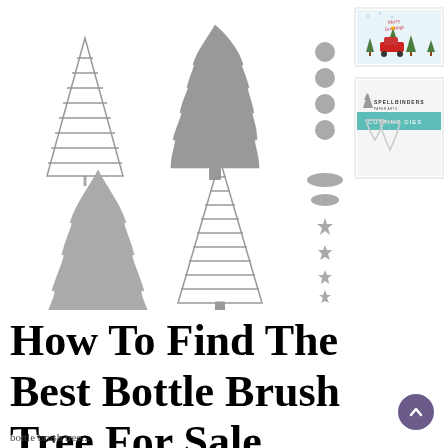[Figure (photo): Product image showing Spellbinders bottle brush tree cutting dies: four grey die-cut Christmas tree shapes of varying sizes, small circular and oval dies, star dies, plus two inset photos — one showing a completed 'Merry Greetings' holiday card with a red car carrying a Christmas tree, and one showing the Spellbinders Cutting Dies product packaging.]
How To Find The Best Bottle Brush Tree For Sale
bottle brush tree...